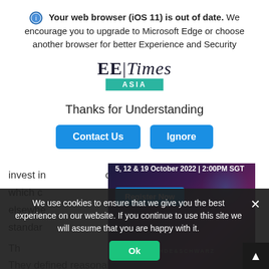Your web browser (iOS 11) is out of date. We encourage you to upgrade to Microsoft Edge or choose another browser for better Experience and Security
[Figure (logo): EE Times Asia logo — bold serif EE|Times with teal ASIA bar]
Thanks for Understanding
[Figure (screenshot): Webinar advertisement banner: '5, 12 & 19 October 2022 | 2:00PM SGT' with Register Now button and Rohde & Schwarz branding on dark background]
invest in ... on, which co ... elsewhere ... standard
We use cookies to ensure that we give you the best experience on our website. If you continue to use this site we will assume that you are happy with it.